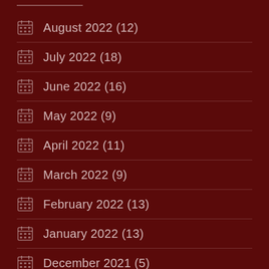August 2022 (12)
July 2022 (18)
June 2022 (16)
May 2022 (9)
April 2022 (11)
March 2022 (9)
February 2022 (13)
January 2022 (13)
December 2021 (5)